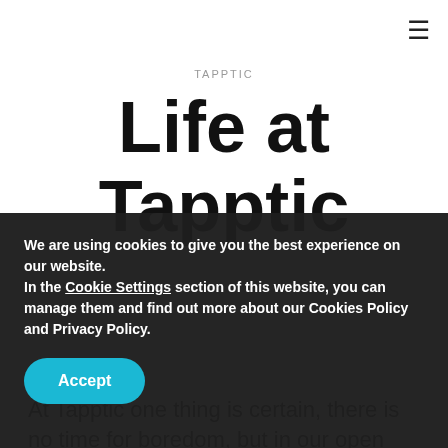≡
TAPPTIC
Life at Tapptic
At Tapptic one thing is certain, there is no time for boredom, but in our open offices you will
We are using cookies to give you the best experience on our website.
In the Cookie Settings section of this website, you can manage them and find out more about our Cookies Policy and Privacy Policy.
Accept